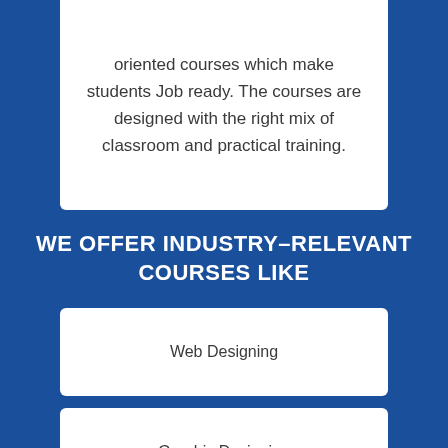oriented courses which make students Job ready. The courses are designed with the right mix of classroom and practical training.
WE OFFER INDUSTRY–RELEVANT COURSES LIKE
Web Designing
Graphic Designing